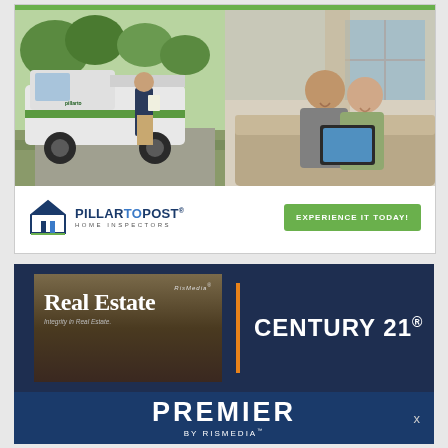[Figure (photo): Pillar To Post Home Inspectors advertisement. Top half shows two photos side by side: left photo shows a home inspector in dark uniform walking past a branded white pickup truck, right photo shows a couple smiling while looking at a tablet. Bottom section shows the Pillar To Post Home Inspectors logo on the left and a green 'EXPERIENCE IT TODAY!' button on the right.]
[Figure (photo): Century 21 / RisMedia advertisement. Dark navy background with two sections: left shows a book cover 'RisMedia Real Estate' with 'Integrity in Real Estate' subtitle, separated by an orange vertical divider from the right side which reads 'CENTURY 21®' in large white text. Below is a dark blue banner reading 'PREMIER BY RISMEDIA' with an X close button.]